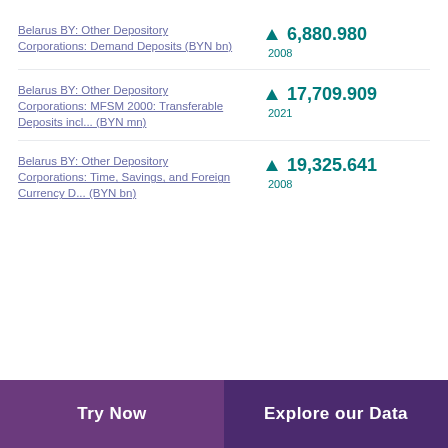Belarus BY: Other Depository Corporations: Demand Deposits (BYN bn)
Belarus BY: Other Depository Corporations: MFSM 2000: Transferable Deposits incl... (BYN mn)
Belarus BY: Other Depository Corporations: Time, Savings, and Foreign Currency D... (BYN bn)
Try Now | Explore our Data